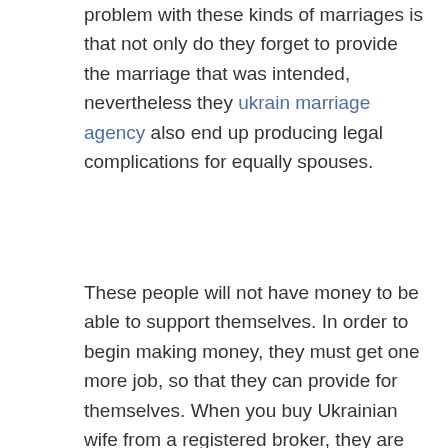problem with these kinds of marriages is that not only do they forget to provide the marriage that was intended, nevertheless they ukrain marriage agency also end up producing legal complications for equally spouses.
These people will not have money to be able to support themselves. In order to begin making money, they must get one more job, so that they can provide for themselves. When you buy Ukrainian wife from a registered broker, they are going to work very difficult to ensure that you have a superb price. They're not going to attempt to get any more money out of you than they absolutely need to.
You have probably heard each and every one for the horror reports about persons getting their very own wives delivered off for some region where that they don't possibly know the sexuality of the person they are getting. If this is something that has occurred to you, then it is very probably that you